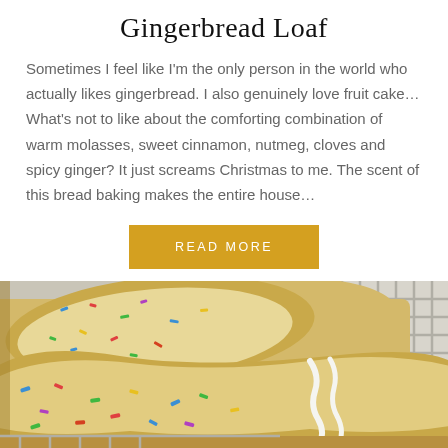Gingerbread Loaf
Sometimes I feel like I'm the only person in the world who actually likes gingerbread. I also genuinely love fruit cake… What's not to like about the comforting combination of warm molasses, sweet cinnamon, nutmeg, cloves and spicy ginger? It just screams Christmas to me. The scent of this bread baking makes the entire house…
READ MORE
[Figure (photo): Sliced funfetti loaf bread with colorful sprinkles throughout, topped with white icing drizzle, displayed on a wire cooling rack.]